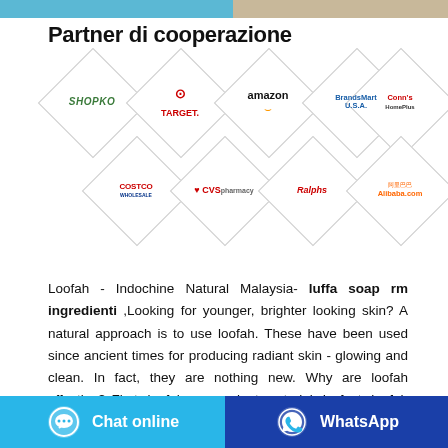[Figure (photo): Top image bar showing partial product photos]
Partner di cooperazione
[Figure (illustration): Grid of partner brand logos in diamond shapes: SHOPKO, TARGET, amazon, BrandsMart U.S.A., Conn's HomePlus, COSTCO WHOLESALE, CVS pharmacy, Ralphs, 阿里巴巴 Alibaba.com]
Loofah - Indochine Natural Malaysia- luffa soap rm ingredienti ,Looking for younger, brighter looking skin? A natural approach is to use loofah. These have been used since ancient times for producing radiant skin - glowing and clean. In fact, they are nothing new. Why are loofah effective? First, loofah are a plant material. In fact, loofah are a member of the cucumber family.Before biography of michael: Through Killer Grass Feeder
Chat online | WhatsApp